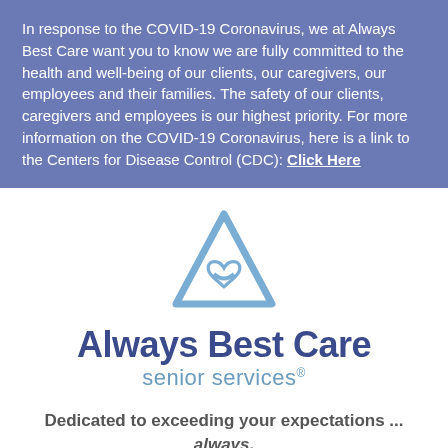In response to the COVID-19 Coronavirus, we at Always Best Care want you to know we are fully committed to the health and well-being of our clients, our caregivers, our employees and their families. The safety of our clients, caregivers and employees is our highest priority. For more information on the COVID-19 Coronavirus, here is a link to the Centers for Disease Control (CDC): Click Here
[Figure (logo): Always Best Care Senior Services logo — a blue triangle outline with a heart/ribbon symbol inside, above bold dark blue text 'Always Best Care' and lighter blue text 'senior services®']
Dedicated to exceeding your expectations ... always.
Care Consultation - Click to call (940)312-7834